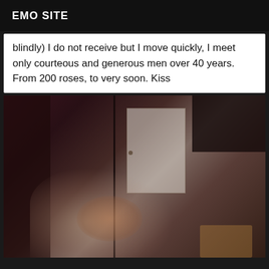EMO SITE
blindly) I do not receive but I move quickly, I meet only courteous and generous men over 40 years. From 200 roses, to very soon. Kiss
[Figure (photo): A dark, low-light photograph taken from above showing a room interior with a mirror reflection. A person with light hair visible at bottom, dark shelving, a white door/cabinet visible, and various dark room elements.]